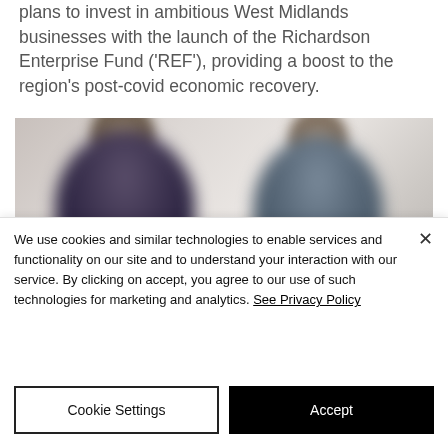plans to invest in ambitious West Midlands businesses with the launch of the Richardson Enterprise Fund ('REF'), providing a boost to the region's post-covid economic recovery.
[Figure (photo): Blurred/out-of-focus photo of two people standing side by side against a light background]
We use cookies and similar technologies to enable services and functionality on our site and to understand your interaction with our service. By clicking on accept, you agree to our use of such technologies for marketing and analytics. See Privacy Policy